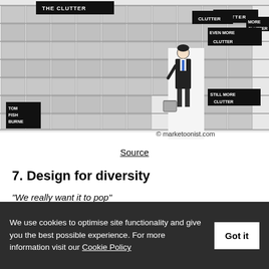[Figure (illustration): Marketoonist cartoon showing a person standing in a supermarket aisle overwhelmed by many shelves of products. Black label signs on shelves read: CLUTTER, MORE CLUTTER, EVEN MORE CLUTTER, STILL MORE CLUTTER. Artist signature: TOM FISH BURNE. Watermark: © marketoonist.com]
Source
7. Design for diversity
"We really want it to pop"
We use cookies to optimise site functionality and give you the best possible experience. For more information visit our Cookie Policy